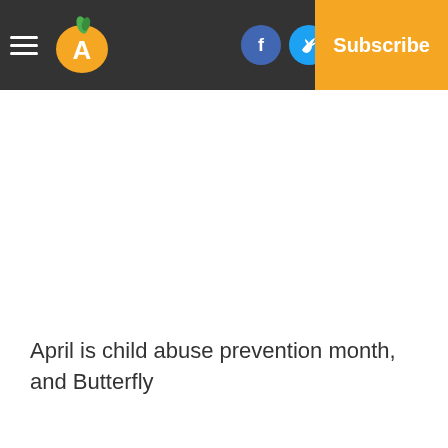Navigation bar with logo, social icons (Facebook, Twitter, Email), Log In, and Subscribe button
April is child abuse prevention month, and Butterfly